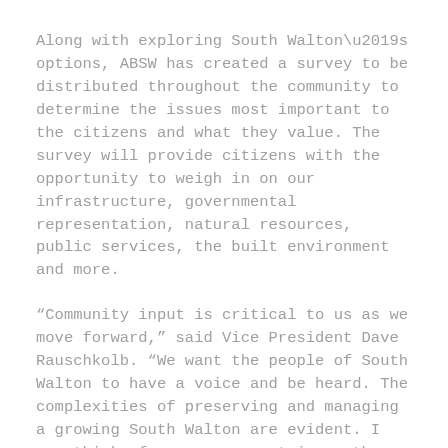Along with exploring South Walton’s options, ABSW has created a survey to be distributed throughout the community to determine the issues most important to the citizens and what they value. The survey will provide citizens with the opportunity to weigh in on our infrastructure, governmental representation, natural resources, public services, the built environment and more.
“Community input is critical to us as we move forward,” said Vice President Dave Rauschkolb. “We want the people of South Walton to have a voice and be heard. The complexities of preserving and managing a growing South Walton are evident. I can think of no more urgent issue than our working together to secure a future for our community we can all be proud of, a future to hand off to our children and theirs. I believe finding the best way for the our citizens of South Walton to govern South Walton is paramount.”
The survey is available on the ABSW website and the Facebook page A Better South Walton. The online...